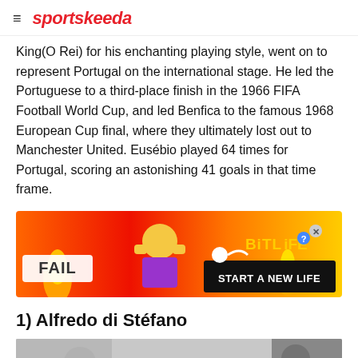sportskeeda
King(O Rei) for his enchanting playing style, went on to represent Portugal on the international stage. He led the Portuguese to a third-place finish in the 1966 FIFA Football World Cup, and led Benfica to the famous 1968 European Cup final, where they ultimately lost out to Manchester United. Eusébio played 64 times for Portugal, scoring an astonishing 41 goals in that time frame.
[Figure (other): BitLife advertisement banner - FAIL START A NEW LIFE]
1) Alfredo di Stéfano
[Figure (photo): Partial grayscale photo at bottom of page]